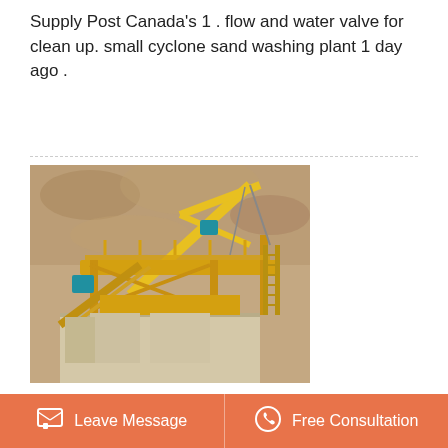Supply Post Canada's 1 . flow and water valve for clean up. small cyclone sand washing plant 1 day ago .
[Figure (photo): Yellow industrial sand washing plant machinery with conveyor belts and structural framework, set against an earthen quarry background]
[Figure (other): Orange rounded square button with upward chevron arrow icon for scrolling]
Sand Wash Plants For Sale
Used gravel wash plants for sale in the us regencypark. used gravel wash plants for sale in the us. used gravel
Leave Message   Free Consultation